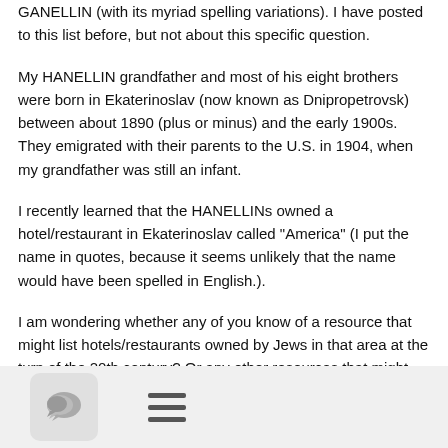GANELLIN (with its myriad spelling variations). I have posted to this list before, but not about this specific question.
My HANELLIN grandfather and most of his eight brothers were born in Ekaterinoslav (now known as Dnipropetrovsk) between about 1890 (plus or minus) and the early 1900s. They emigrated with their parents to the U.S. in 1904, when my grandfather was still an infant.
I recently learned that the HANELLINs owned a hotel/restaurant in Ekaterinoslav called "America" (I put the name in quotes, because it seems unlikely that the name would have been spelled in English.).
I am wondering whether any of you know of a resource that might list hotels/restaurants owned by Jews in that area at the turn of the 20th century? Or any other resources that might help me learn more about this hotel/restaurant? (Apparently my family also had a restaurant on the Lower East Side of New York after they moved here (although they lived in Brooklyn), but I don't
[Figure (other): Bottom navigation bar with a chat bubble icon button and a hamburger menu icon]